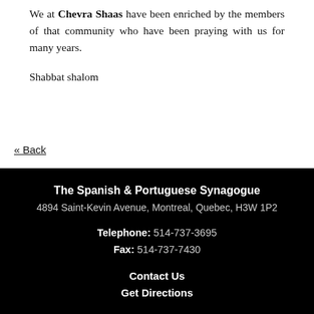We at Chevra Shaas have been enriched by the members of that community who have been praying with us for many years.
Shabbat shalom
« Back
The Spanish & Portuguese Synagogue
4894 Saint-Kevin Avenue, Montreal, Quebec, H3W 1P2
Telephone: 514-737-3695
Fax: 514-737-7430
Contact Us
Get Directions